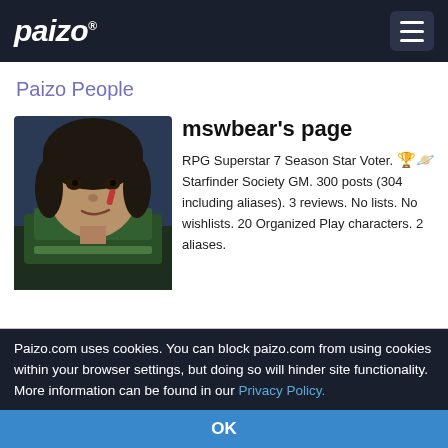paizo ☰
Paizo People
[Figure (illustration): Character portrait of a dark-haired man with a scar, wearing green armor, painted in a fantasy RPG style]
mswbear's page
RPG Superstar 7 Season Star Voter. 🏆🪐 Starfinder Society GM. 300 posts (304 including aliases). 3 reviews. No lists. No wishlists. 20 Organized Play characters. 2 aliases.
Profile
Aliases
Campaigns
Paizo.com uses cookies. You can block paizo.com from using cookies within your browser settings, but doing so will hinder site functionality. More information can be found in our Privacy Policy.
OK